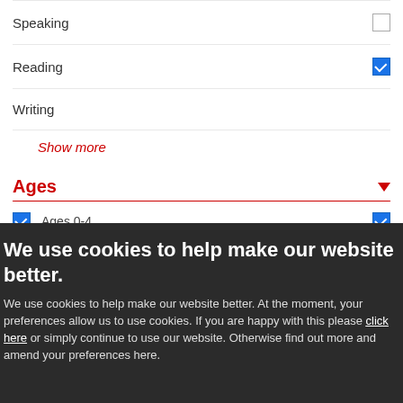Speaking — unchecked
Reading — checked
Writing — unchecked
Show more
Ages
Ages 0-4 — checked (both sides)
Ages 5-7 — unchecked
Adolescent/Adult
We use cookies to help make our website better.
We use cookies to help make our website better. At the moment, your preferences allow us to use cookies. If you are happy with this please click here or simply continue to use our website. Otherwise find out more and amend your preferences here.